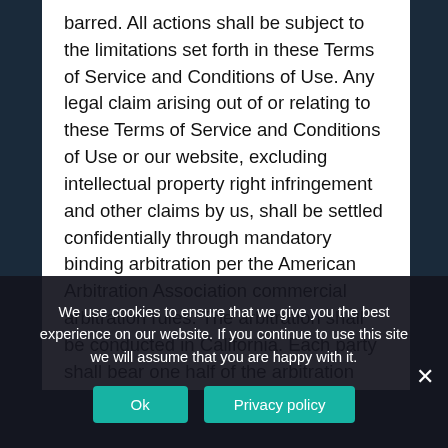barred. All actions shall be subject to the limitations set forth in these Terms of Service and Conditions of Use. Any legal claim arising out of or relating to these Terms of Service and Conditions of Use or our website, excluding intellectual property right infringement and other claims by us, shall be settled confidentially through mandatory binding arbitration per the American Arbitration Association commercial arbitration rules. The arbitration shall be conducted in California. Each party shall bear one half of the arbitration fees and costs incurred, and each party shall bear its own lawyer fees. All claims shall be arbitrated on an individual basis, and shall not be consolidated in any arbitration with any claim or controversy of any other party.
We use cookies to ensure that we give you the best experience on our website. If you continue to use this site we will assume that you are happy with it.